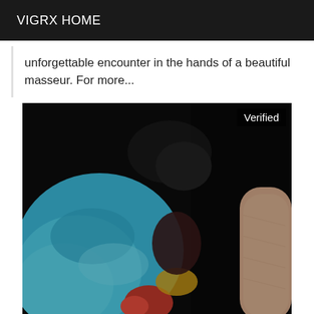VIGRX HOME
unforgettable encounter in the hands of a beautiful masseur. For more...
[Figure (photo): Dark photograph showing colorful towels (blue, red) and hands in a dimly lit scene. A 'Verified' badge appears in the top right corner of the image.]